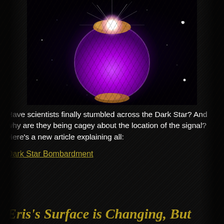[Figure (illustration): Astronomical illustration showing a large glowing purple planet or celestial body against a dark starfield. A bright white light source flares from the top of the purple sphere, with golden/orange rocky or gaseous material at the top and bottom of the sphere. Several stars are visible in the dark background.]
Have scientists finally stumbled across the Dark Star?  And why are they being cagey about the location of the signal? Here's a new article explaining all:
Dark Star Bombardment
Eris's Surface is Changing, But